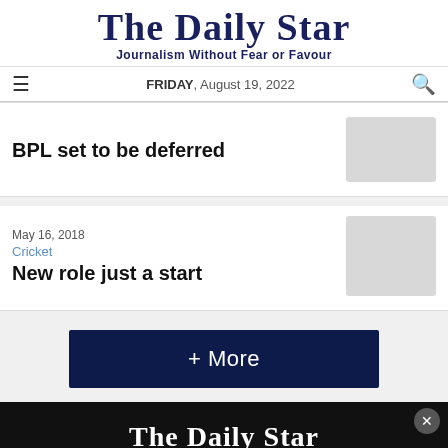The Daily Star — Journalism Without Fear or Favour — FRIDAY, August 19, 2022
BPL set to be deferred
May 16, 2018
Cricket
New role just a start
+ More
[Figure (logo): The Daily Star logo in white on black background — advertisement bar at bottom]
The Daily Star